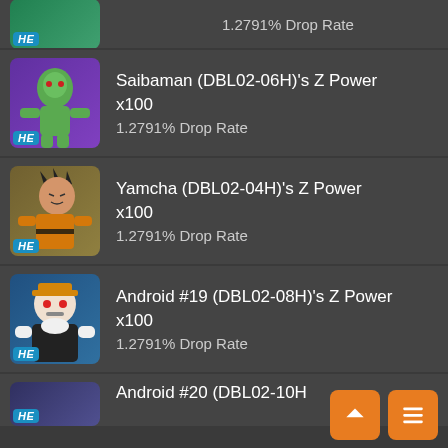1.2791% Drop Rate (partial row, top)
Saibaman (DBL02-06H)'s Z Power x100 1.2791% Drop Rate
Yamcha (DBL02-04H)'s Z Power x100 1.2791% Drop Rate
Android #19 (DBL02-08H)'s Z Power x100 1.2791% Drop Rate
Android #20 (DBL02-10H) (partial row, bottom)